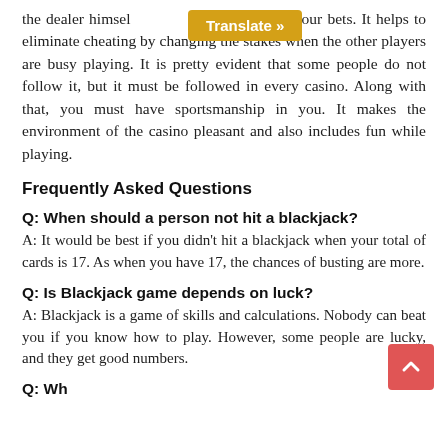the dealer himself … chips to place your bets. It helps to eliminate cheating by changing the stakes when the other players are busy playing. It is pretty evident that some people do not follow it, but it must be followed in every casino. Along with that, you must have sportsmanship in you. It makes the environment of the casino pleasant and also includes fun while playing.
Frequently Asked Questions
Q: When should a person not hit a blackjack?
A: It would be best if you didn't hit a blackjack when your total of cards is 17. As when you have 17, the chances of busting are more.
Q: Is Blackjack game depends on luck?
A: Blackjack is a game of skills and calculations. Nobody can beat you if you know how to play. However, some people are lucky, and they get good numbers.
Q: Wh…